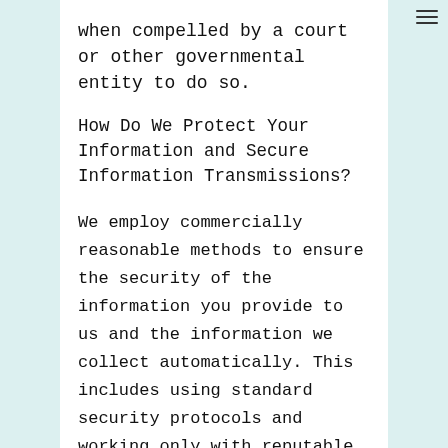when compelled by a court or other governmental entity to do so.
How Do We Protect Your Information and Secure Information Transmissions?
We employ commercially reasonable methods to ensure the security of the information you provide to us and the information we collect automatically. This includes using standard security protocols and working only with reputable third-party vendors.
Email is not recognized as a secure medium